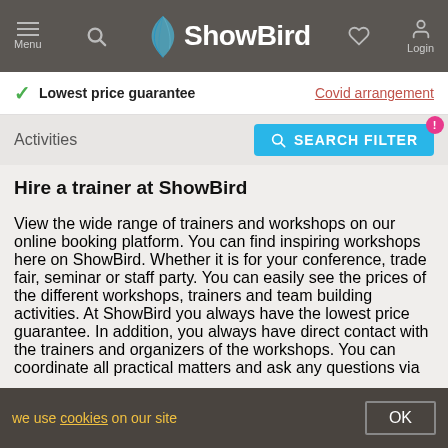ShowBird — Menu | Login
Lowest price guarantee    Covid arrangement
Activities    SEARCH FILTER
Hire a trainer at ShowBird
View the wide range of trainers and workshops on our online booking platform. You can find inspiring workshops here on ShowBird. Whether it is for your conference, trade fair, seminar or staff party. You can easily see the prices of the different workshops, trainers and team building activities. At ShowBird you always have the lowest price guarantee. In addition, you always have direct contact with the trainers and organizers of the workshops. You can coordinate all practical matters and ask any questions via
we use cookies on our site    OK